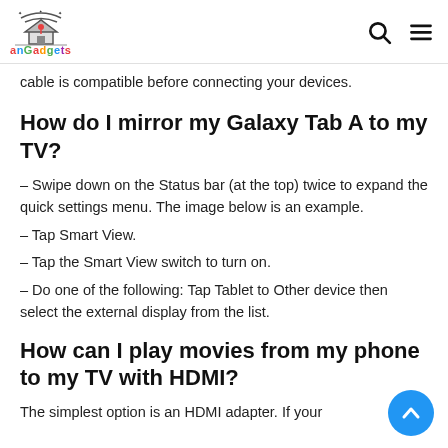anGadgets
cable is compatible before connecting your devices.
How do I mirror my Galaxy Tab A to my TV?
– Swipe down on the Status bar (at the top) twice to expand the quick settings menu. The image below is an example.
– Tap Smart View.
– Tap the Smart View switch to turn on.
– Do one of the following: Tap Tablet to Other device then select the external display from the list.
How can I play movies from my phone to my TV with HDMI?
The simplest option is an HDMI adapter. If your